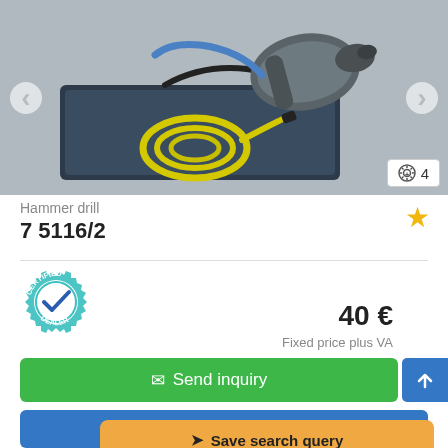[Figure (photo): Photo of a hammer drill with yellow coiled cable sitting on a dark blue carrying case, with navigation arrows on either side and an image count badge showing a zoom icon and 4.]
Hammer drill
7 5116/2
[Figure (logo): Certified Dealer badge — teal gear outline with checkmark in center circle, text CERTIFIED on top arc and DEALER on bottom arc.]
40 €
Fixed price plus VA
✉ Send inquiry
✆ Call
➤ Save search query